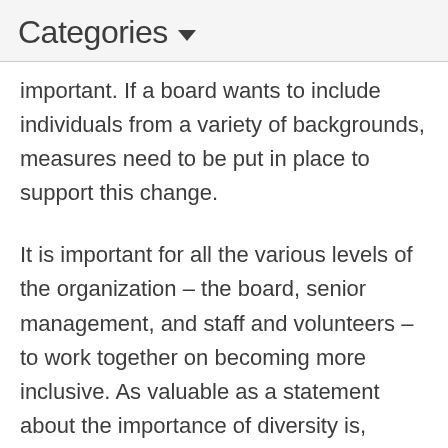Categories
important. If a board wants to include individuals from a variety of backgrounds, measures need to be put in place to support this change.
It is important for all the various levels of the organization – the board, senior management, and staff and volunteers – to work together on becoming more inclusive. As valuable as a statement about the importance of diversity is, without policies, practices and procedures to back it up, it would be meaningless. Diversity as it affects the organization needs to be considered in the decision-making of the board in the same way that financial considerations or risk management are